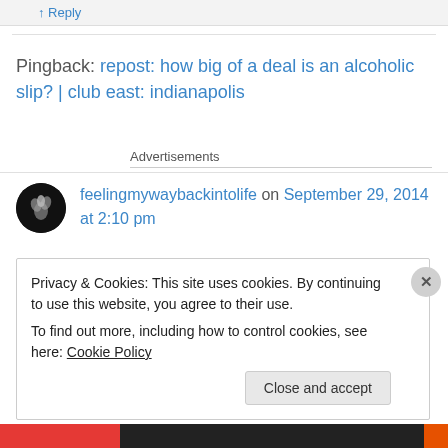↑ Reply
Pingback: repost: how big of a deal is an alcoholic slip? | club east: indianapolis
Advertisements
feelingmywaybackintolife on September 29, 2014 at 2:10 pm
Privacy & Cookies: This site uses cookies. By continuing to use this website, you agree to their use. To find out more, including how to control cookies, see here: Cookie Policy
Close and accept